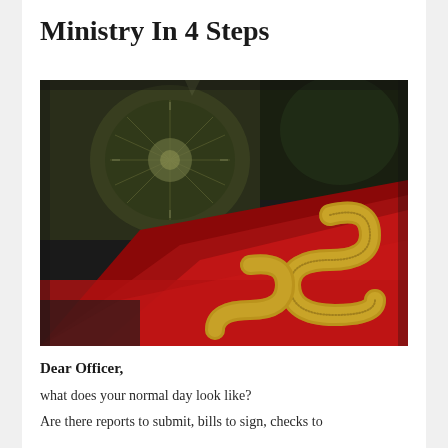Ministry In 4 Steps
[Figure (photo): Close-up dark photo showing a gold metallic letter S on red velvet fabric, with a blurred clock or compass in the background on dark green surface]
Dear Officer,
what does your normal day look like?
Are there reports to submit, bills to sign, checks to